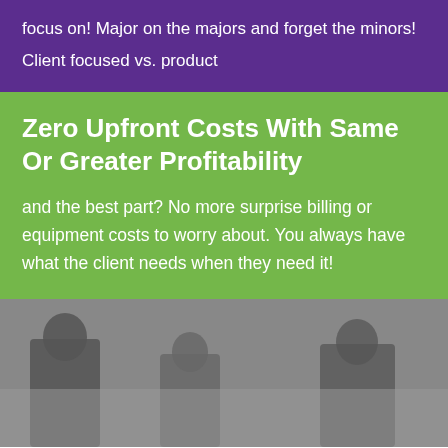focus on! Major on the majors and forget the minors!
Client focused vs. product
Zero Upfront Costs With Same Or Greater Profitability
and the best part? No more surprise billing or equipment costs to worry about. You always have what the client needs when they need it!
[Figure (photo): Grayscale photograph of people in a business setting, partially visible at the bottom of the page]